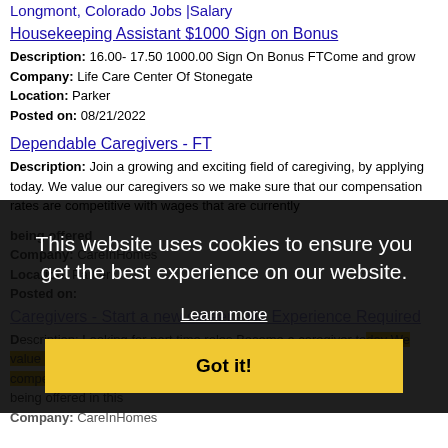Longmont, Colorado Jobs |Salary
Housekeeping Assistant $1000 Sign on Bonus
Description: 16.00- 17.50 1000.00 Sign On Bonus FTCome and grow
Company: Life Care Center Of Stonegate
Location: Parker
Posted on: 08/21/2022
Dependable Caregivers - FT
Description: Join a growing and exciting field of caregiving, by applying today. We value our caregivers so we make sure that our compensation rates are competitive with wages that are currently being offered
Company: CareInHomes
Location: Parker
Posted on: [partially obscured]
Caregivers - Start a new career - No Experience Required
Description: Looking for part time roles Become a caregiver today We value our caregivers so we make sure that our compensation rates are competitive with wages that are currently being offered in this
Company: CareInHomes
This website uses cookies to ensure you get the best experience on our website.
Learn more
Got it!